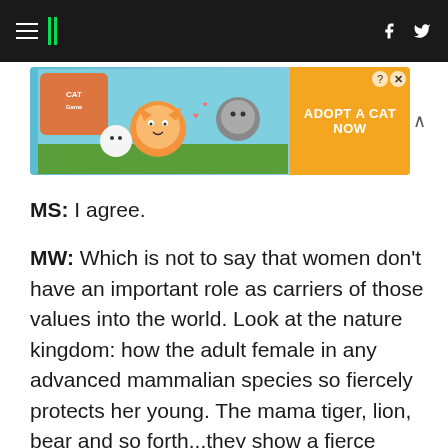HuffPost navigation with hamburger menu, logo, Facebook and Twitter icons
[Figure (infographic): Cat game advertisement banner: 'ADOPT A CAT NOW' with cartoon cat characters on colorful background, close button and question mark icon]
MS: I agree.
MW: Which is not to say that women don't have an important role as carriers of those values into the world. Look at the nature kingdom: how the adult female in any advanced mammalian species so fiercely protects her young. The mama tiger, lion, bear and so forth...they show a fierce insistence on care and protection of the young. Even among the hyenas, the adult females encircle the cubs while they're feeding